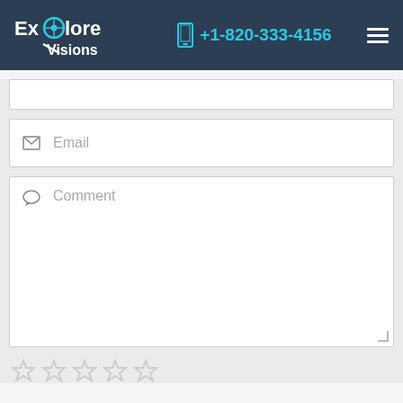[Figure (screenshot): Website header with Explore Visions logo, phone number +1-820-333-4156, and hamburger menu icon on dark navy background]
[Figure (screenshot): Empty text input field at top (partially visible)]
Email
Comment
[Figure (illustration): Five gray star rating icons in a row]